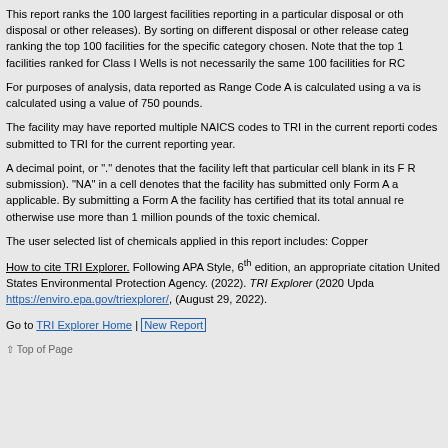This report ranks the 100 largest facilities reporting in a particular disposal or other releases). By sorting on different disposal or other release categories, ranking the top 100 facilities for the specific category chosen. Note that the top 100 facilities ranked for Class I Wells is not necessarily the same 100 facilities for RC
For purposes of analysis, data reported as Range Code A is calculated using a value; is calculated using a value of 750 pounds.
The facility may have reported multiple NAICS codes to TRI in the current reporting year; codes submitted to TRI for the current reporting year.
A decimal point, or "." denotes that the facility left that particular cell blank in its Form R submission). "NA" in a cell denotes that the facility has submitted only Form A and is applicable. By submitting a Form A the facility has certified that its total annual re otherwise use more than 1 million pounds of the toxic chemical.
The user selected list of chemicals applied in this report includes: Copper
How to cite TRI Explorer. Following APA Style, 6th edition, an appropriate citation United States Environmental Protection Agency. (2022). TRI Explorer (2020 Update). https://enviro.epa.gov/triexplorer/, (August 29, 2022).
Go to TRI Explorer Home | New Report
↑ Top of Page